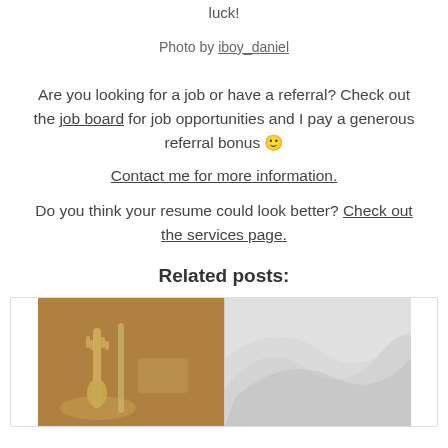luck!
Photo by iboy_daniel
Are you looking for a job or have a referral? Check out the job board for job opportunities and I pay a generous referral bonus 🙂
Contact me for more information.
Do you think your resume could look better? Check out the services page.
Related posts:
[Figure (photo): Close-up photo of golden silverware/cutlery on a table setting]
[Figure (photo): Abstract grey and white wavy pattern image]